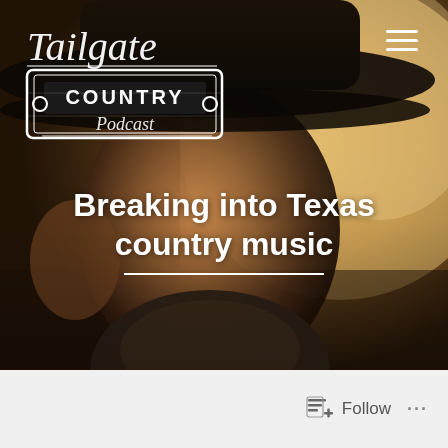[Figure (photo): Hero background photo of a young man wearing a black cowboy hat, close-up portrait with warm bokeh lighting. Overlaid with Tailgate Country Podcast logo at top left, a hamburger menu icon at top right, and a bold white headline reading 'Breaking into Texas country music' with a white horizontal rule beneath it.]
Breaking into Texas country music
[Figure (logo): Tailgate Country Podcast logo: script 'Tailgate' text in white italic above a truck grille graphic with 'COUNTRY' in block letters and 'Podcast' in script below]
Follow
...